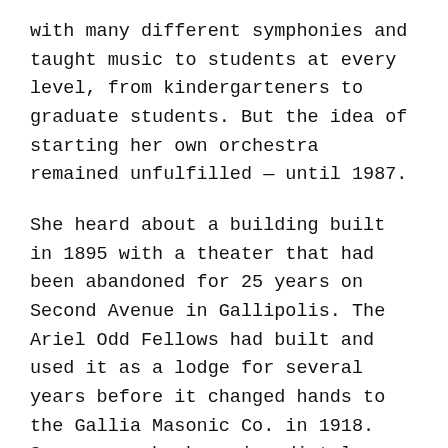with many different symphonies and taught music to students at every level, from kindergarteners to graduate students. But the idea of starting her own orchestra remained unfulfilled — until 1987.
She heard about a building built in 1895 with a theater that had been abandoned for 25 years on Second Avenue in Gallipolis. The Ariel Odd Fellows had built and used it as a lodge for several years before it changed hands to the Gallia Masonic Co. in 1918. Snow says she knew immediately that this would be the home for her future symphony.
When Snow first stepped inside the old opera house, the doors to the theater were chained shut, and the